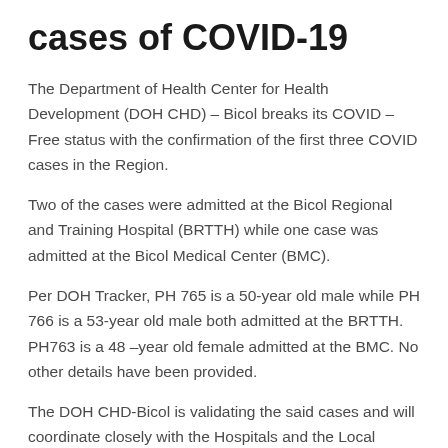cases of COVID-19
The Department of Health Center for Health Development (DOH CHD) – Bicol breaks its COVID –Free status with the confirmation of the first three COVID cases in the Region.
Two of the cases were admitted at the Bicol Regional and Training Hospital (BRTTH) while one case was admitted at the Bicol Medical Center (BMC).
Per DOH Tracker, PH 765 is a 50-year old male while PH 766 is a 53-year old male both admitted at the BRTTH. PH763 is a 48 –year old female admitted at the BMC. No other details have been provided.
The DOH CHD-Bicol is validating the said cases and will coordinate closely with the Hospitals and the Local